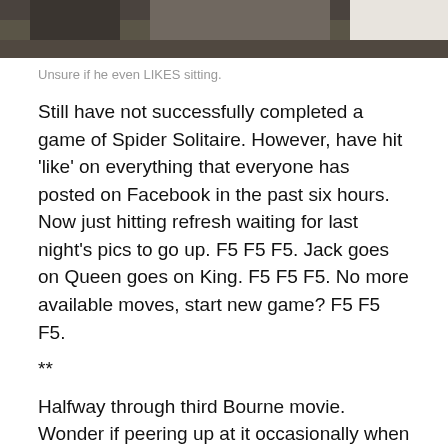[Figure (photo): Partial photo of a person from torso up, cropped at top of page]
Unsure if he even LIKES sitting.
Still have not successfully completed a game of Spider Solitaire. However, have hit ‘like’ on everything that everyone has posted on Facebook in the past six hours. Now just hitting refresh waiting for last night’s pics to go up. F5 F5 F5. Jack goes on Queen goes on King. F5 F5 F5. No more available moves, start new game? F5 F5 F5.
**
Halfway through third Bourne movie. Wonder if peering up at it occasionally when there’s a loud noise counts as actually watching it.
Should probably be more eloquent about it. For the next time